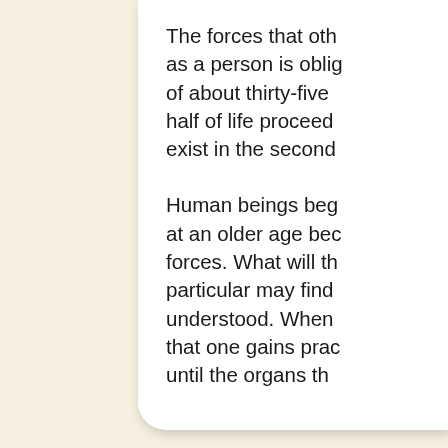The forces that oth as a person is oblig of about thirty-five half of life proceed exist in the second
Human beings beg at an older age bec forces. What will th particular may find understood. When that one gains prac until the organs th